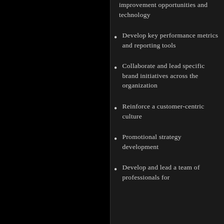improvement opportunities and technology
Develop key performance metrics and reporting tools
Collaborate and lead specific brand initiatives across the organization
Reinforce a customer-centric culture
Promotional strategy development
Develop and lead a team of professionals for